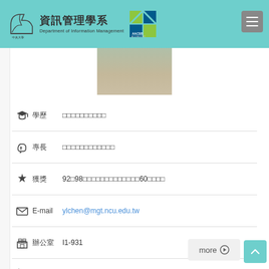資訊管理學系 Department of Information Management
[Figure (photo): Profile photo of faculty member, partial view showing shoulders and face]
| icon | label | value |
| --- | --- | --- |
| 🎓 | 學歷 | （內容以方塊字顯示） |
| 👍 | 專長 | （內容以方塊字顯示） |
| ✳ | 獲獎 | 92至98（內容以方塊字顯示）60（方塊字） |
| ✉ | E-mail | ylchen@mgt.ncu.edu.tw |
| 💼 | 辦公室 | I1-931 |
| 📞 | 電話 | 66532 |
more ▶